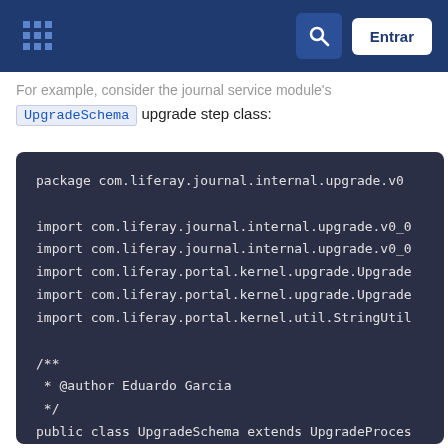Liferay documentation header with logo, search button, and Entrar button
For example, consider the journal service module's UpgradeSchema upgrade step class:
package com.liferay.journal.internal.upgrade.v0_

import com.liferay.journal.internal.upgrade.v0_0
import com.liferay.journal.internal.upgrade.v0_0
import com.liferay.portal.kernel.upgrade.Upgrade
import com.liferay.portal.kernel.upgrade.Upgrade
import com.liferay.portal.kernel.util.StringUtil

/**
 * @author Eduardo Garcia
 */
public class UpgradeSchema extends UpgradeProces